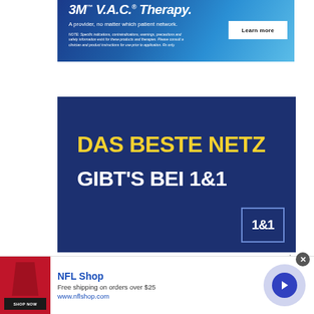[Figure (advertisement): 3M V.A.C. Therapy advertisement on blue gradient background with 'Learn more' button]
[Figure (advertisement): 1&1 telecom advertisement on dark blue background with text 'DAS BESTE NETZ GIBT'S BEI 1&1' and 1&1 logo]
[Figure (advertisement): NFL Shop banner advertisement with product image, 'Free shipping on orders over $25', www.nflshop.com, Shop Now button, and navigation arrow]